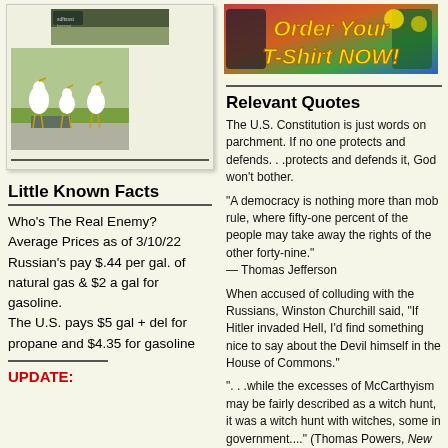[Figure (photo): Small landscape/wildlife photo at top of left column card]
[Figure (photo): Photo of white birds (egrets/cranes) on pavement near grass]
Little Known Facts
Who's The Real Enemy? Average Prices as of 3/10/22 Russian's pay $.44 per gal. of natural gas & $2 a gal for gasoline. The U.S. pays $5 gal + del for propane and $4.35 for gasoline
UPDATE:
[Figure (photo): T-shirt advertisement banner: Order Your T-Shirt NOW!]
Relevant Quotes
The U.S. Constitution is just words on parchment. If no one protects and defends. . .protects and defends it, God won't bother.
"A democracy is nothing more than mob rule, where fifty-one percent of the people may take away the rights of the other forty-nine." — Thomas Jefferson
When accused of colluding with the Russians, Winston Churchill said, "If Hitler invaded Hell, I'd find something nice to say about the Devil himself in the House of Commons."
". . .while the excesses of McCarthyism may be fairly described as a witch hunt, it was a witch hunt with witches, some in government...." (Thomas Powers, New York